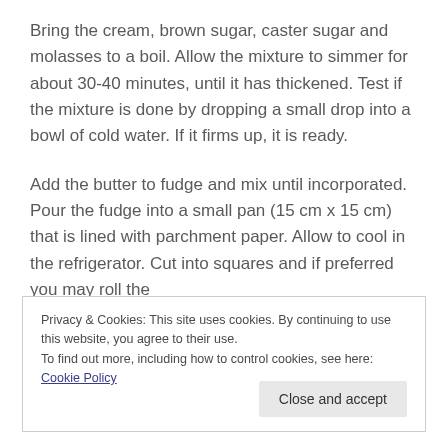Bring the cream, brown sugar, caster sugar and molasses to a boil. Allow the mixture to simmer for about 30-40 minutes, until it has thickened. Test if the mixture is done by dropping a small drop into a bowl of cold water. If it firms up, it is ready.
Add the butter to fudge and mix until incorporated. Pour the fudge into a small pan (15 cm x 15 cm) that is lined with parchment paper. Allow to cool in the refrigerator. Cut into squares and if preferred you may roll the
Privacy & Cookies: This site uses cookies. By continuing to use this website, you agree to their use.
To find out more, including how to control cookies, see here: Cookie Policy